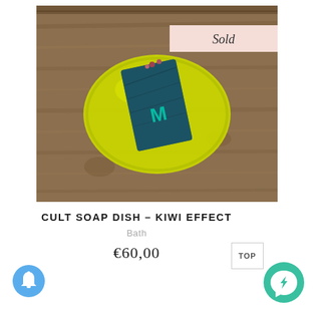[Figure (photo): Top-down photo of a bright yellow/lime ceramic soap dish holding a dark teal soap bar with a teal M logo, placed on a rustic wooden surface. A pink 'Sold' badge overlays the top-right of the image.]
CULT SOAP DISH – KIWI EFFECT
Bath
€60,00